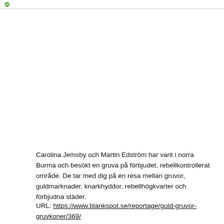[Figure (photo): A photograph area at the top of the page (mostly white/blank in this view), with a small green-leaf icon in the top-left header bar.]
Carolina Jemsby och Martin Edström har varit i norra Burma och besökt en gruva på förbjudet, rebellkontrollerat område. De tar med dig på en resa mellan gruvor, guldmarknader, knarkhyddor, rebellhögkvarter och förbjudna städer.
URL: https://www.blankspot.se/reportage/guld-gruvor-gruvkoner/369/